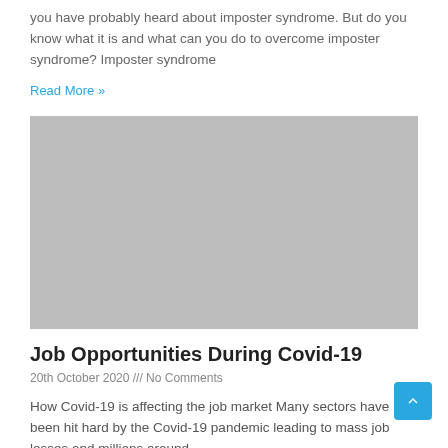you have probably heard about imposter syndrome. But do you know what it is and what can you do to overcome imposter syndrome? Imposter syndrome
Read More »
[Figure (photo): Placeholder gray image for article about Job Opportunities During Covid-19]
Job Opportunities During Covid-19
20th October 2020 /// No Comments
How Covid-19 is affecting the job market Many sectors have been hit hard by the Covid-19 pandemic leading to mass job losses and millions around